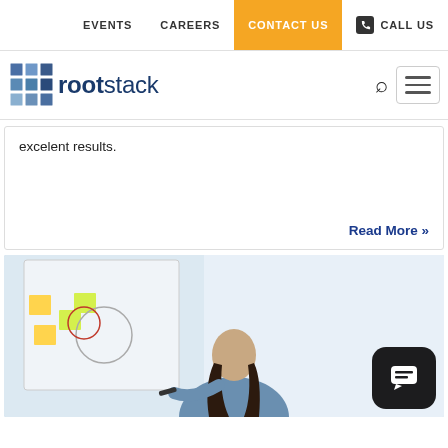EVENTS   CAREERS   CONTACT US   CALL US
[Figure (logo): Rootstack logo with cube graphic and text 'rootstack']
excelent results.
Read More »
[Figure (photo): A woman writing on a whiteboard with sticky notes, viewed from the side in an office/meeting setting. A chat widget icon is visible in the bottom right corner.]